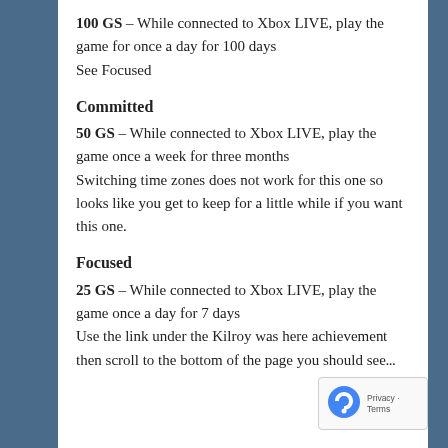100 GS – While connected to Xbox LIVE, play the game for once a day for 100 days
See Focused
Committed
50 GS – While connected to Xbox LIVE, play the game once a week for three months
Switching time zones does not work for this one so looks like you get to keep for a little while if you want this one.
Focused
25 GS – While connected to Xbox LIVE, play the game once a day for 7 days
Use the link under the Kilroy was here achievement then scroll to the bottom of the page you should see...